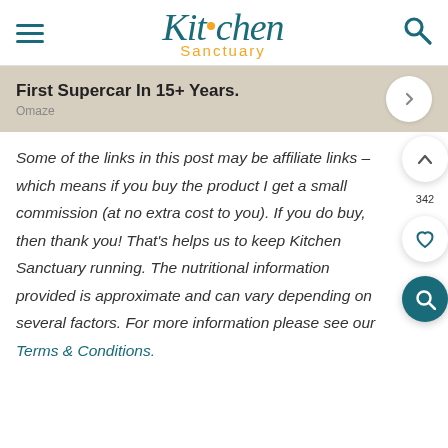Kitchen Sanctuary
[Figure (infographic): Advertisement banner: 'First Supercar In 15+ Years.' by Omaze, with a white circular arrow button on the right]
Some of the links in this post may be affiliate links – which means if you buy the product I get a small commission (at no extra cost to you). If you do buy, then thank you! That's helps us to keep Kitchen Sanctuary running. The nutritional information provided is approximate and can vary depending on several factors. For more information please see our Terms & Conditions.